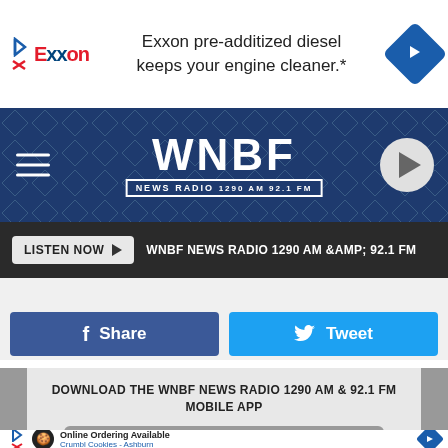[Figure (screenshot): Exxon advertisement banner: Exxon logo on left, text 'Exxon pre-additized diesel keeps your engine cleaner.*', navigation arrow icon on right]
[Figure (logo): WNBF News Radio logo on dark blue patterned background with hamburger menu icon on left and play button on right]
LISTEN NOW ▶   WNBF NEWS RADIO 1290 AM &AMP; 92.1 FM
[Figure (screenshot): Facebook Share button (dark blue) and Twitter Tweet button (light blue) side by side]
DOWNLOAD THE WNBF NEWS RADIO 1290 AM & 92.1 FM MOBILE APP
GET OUR FREE MOBILE APP
Also listen on:  amazon alexa
[Figure (screenshot): Crumbl Cookies advertisement: cookie icon, text 'Online Ordering Available', 'Crumbl Cookies - Ashburn', navigation arrow icon]